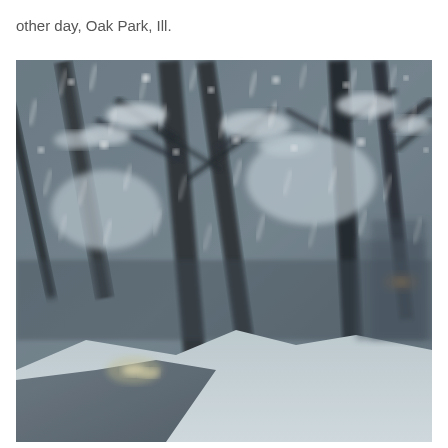other day, Oak Park, Ill.
[Figure (photo): A blurry photograph taken from a moving vehicle showing a snowy winter scene in Oak Park, Illinois. Trees with bare branches are covered in snow and seen through heavy snowfall. The road is visible in the lower portion of the image with headlights of another vehicle visible in the distance. The image is motion-blurred, giving a sense of movement through the snow storm.]